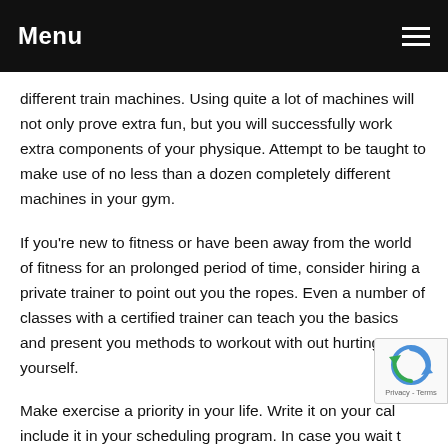Menu
different train machines. Using quite a lot of machines will not only prove extra fun, but you will successfully work extra components of your physique. Attempt to be taught to make use of no less than a dozen completely different machines in your gym.
If you're new to fitness or have been away from the world of fitness for an prolonged period of time, consider hiring a private trainer to point out you the ropes. Even a number of classes with a certified trainer can teach you the basics and present you methods to workout with out hurting yourself.
Make exercise a priority in your life. Write it on your cal… include it in your scheduling program. In case you wait t… till you will have time, or once you think of it, you won't get it…